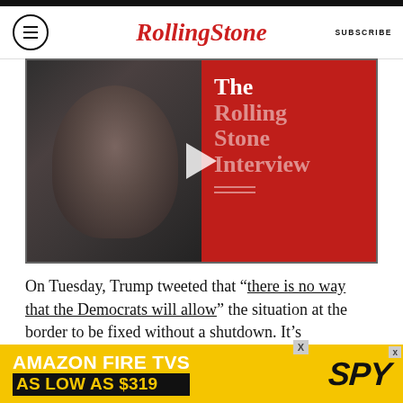Rolling Stone | SUBSCRIBE
[Figure (screenshot): Video thumbnail showing a woman smiling on the left half against a dark background, and on the right half a red background with white text reading 'The Rolling Stone Interview' with a play button in the center.]
On Tuesday, Trump tweeted that “there is no way that the Democrats will allow” the situation at the border to be fixed without a shutdown. It’s consistently been the president, though, who has thwarted efforts to make progress, ostensibly for no other reason than that he is incapable of
[Figure (screenshot): Advertisement banner: AMAZON FIRE TVS AS LOW AS $319 | SPY logo]